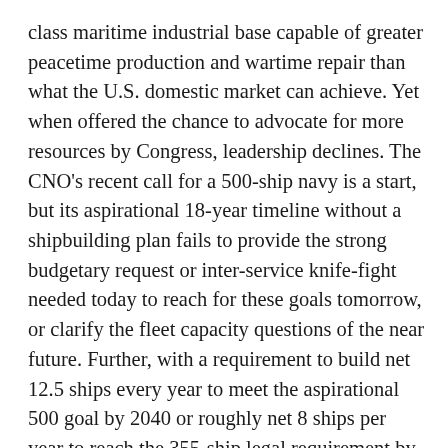class maritime industrial base capable of greater peacetime production and wartime repair than what the U.S. domestic market can achieve. Yet when offered the chance to advocate for more resources by Congress, leadership declines. The CNO's recent call for a 500-ship navy is a start, but its aspirational 18-year timeline without a shipbuilding plan fails to provide the strong budgetary request or inter-service knife-fight needed today to reach for these goals tomorrow, or clarify the fleet capacity questions of the near future. Further, with a requirement to build net 12.5 ships every year to meet the aspirational 500 goal by 2040 or roughly net 8 ships per year to reach the 355-ship legal requirement by at least 2030 – the Navy clearly declines to fight for its legal and operational needs.